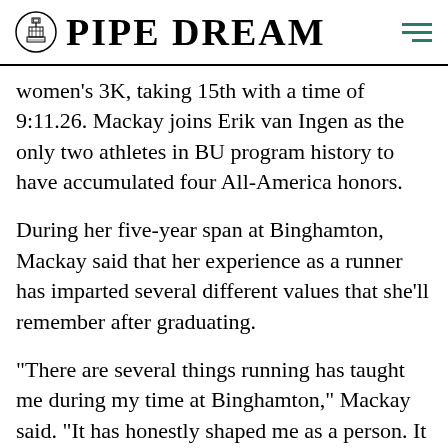PIPE DREAM
women's 3K, taking 15th with a time of 9:11.26. Mackay joins Erik van Ingen as the only two athletes in BU program history to have accumulated four All-America honors.
During her five-year span at Binghamton, Mackay said that her experience as a runner has imparted several different values that she'll remember after graduating.
“There are several things running has taught me during my time at Binghamton,” Mackay said. “It has honestly shaped me as a person. It taught me to be both dedicated and to put my all into everything I do … It’s important to never take a race for granted as